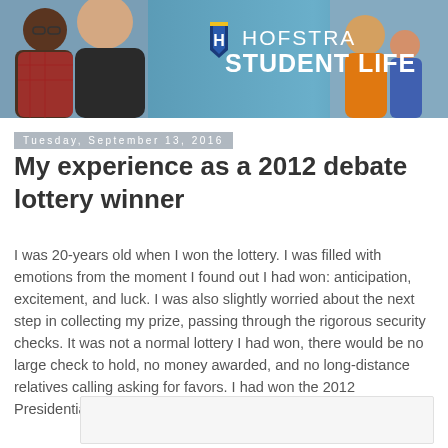[Figure (photo): Hofstra Student Life banner with logo, students on left side and right side, blue/teal background]
Tuesday, September 13, 2016
My experience as a 2012 debate lottery winner
I was 20-years old when I won the lottery. I was filled with emotions from the moment I found out I had won: anticipation, excitement, and luck. I was also slightly worried about the next step in collecting my prize, passing through the rigorous security checks. It was not a normal lottery I had won, there would be no large check to hold, no money awarded, and no long-distance relatives calling asking for favors. I had won the 2012 Presidential Debate Ticket Lottery at Hofstra University.